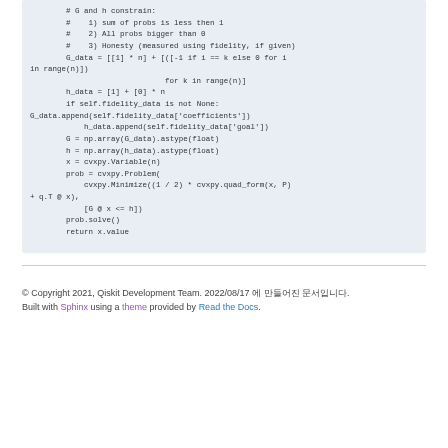[Figure (screenshot): Python code block showing constraint setup and cvxpy optimization problem formulation with comments about G and h constraints]
© Copyright 2021, Qiskit Development Team. 2022/08/17 에 만들어진 문서입니다. Built with Sphinx using a theme provided by Read the Docs.